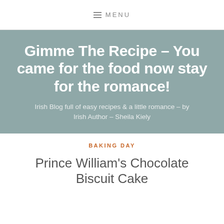☰ MENU
Gimme The Recipe – You came for the food now stay for the romance!
Irish Blog full of easy recipes & a little romance – by Irish Author – Sheila Kiely
BAKING DAY
Prince William's Chocolate Biscuit Cake